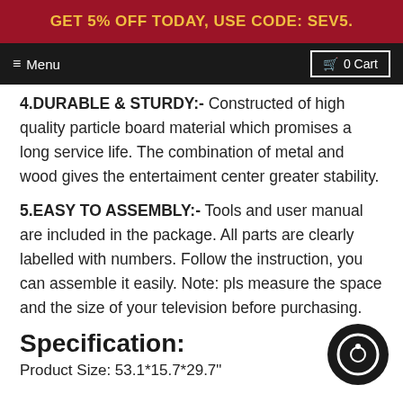GET 5% OFF TODAY, USE CODE: SEV5.
Menu   0 Cart
4.DURABLE & STURDY:- Constructed of high quality particle board material which promises a long service life. The combination of metal and wood gives the entertaiment center greater stability.
5.EASY TO ASSEMBLY:- Tools and user manual are included in the package. All parts are clearly labelled with numbers. Follow the instruction, you can assemble it easily. Note: pls measure the space and the size of your television before purchasing.
Specification:
Product Size: 53.1*15.7*29.7"